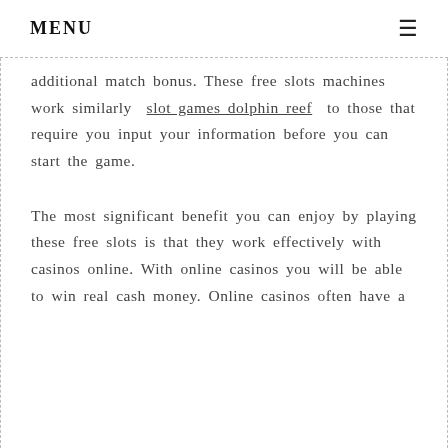MENU
additional match bonus. These free slots machines work similarly slot games dolphin reef to those that require you input your information before you can start the game.
The most significant benefit you can enjoy by playing these free slots is that they work effectively with casinos online. With online casinos you will be able to win real cash money. Online casinos often have a